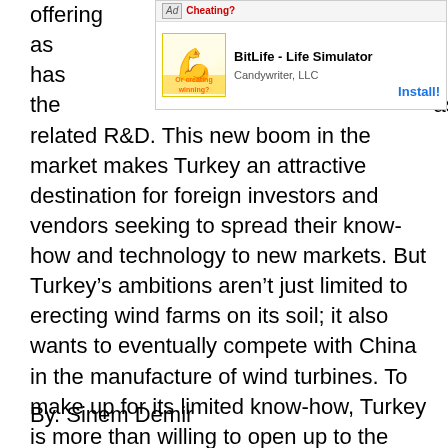offering [Ad] [BitLife - Life Simulator | Candywriter, LLC | Install!] ed, as has the [ad image] as related R&D. This new boom in the market makes Turkey an attractive destination for foreign investors and vendors seeking to spread their know-how and technology to new markets. But Turkey’s ambitions aren’t just limited to erecting wind farms on its soil; it also wants to eventually compete with China in the manufacture of wind turbines. To make up for its limited know-how, Turkey is more than willing to open up to the world. In order to promote the Turkish energy market, the sector organizes many trade fairs as well as regular networking events, all in the name of attracting foreign investment. With its advantageous geography, it seems Turkey will soon be strengthening its foothold in the energy sector, all thanks to rising R&D investments and the growing collaboration between universities and the private sector.
By. Sinem Demir